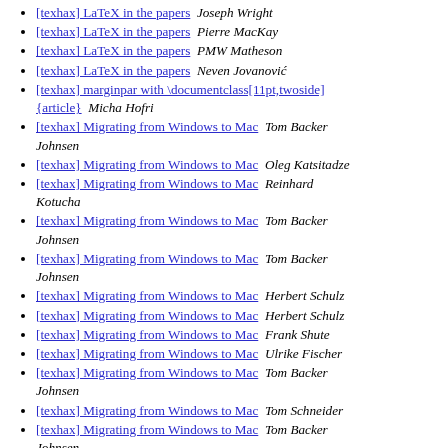[texhax] LaTeX in the papers  Joseph Wright
[texhax] LaTeX in the papers  Pierre MacKay
[texhax] LaTeX in the papers  PMW Matheson
[texhax] LaTeX in the papers  Neven Jovanović
[texhax] marginpar with \documentclass[11pt,twoside]{article}  Micha Hofri
[texhax] Migrating from Windows to Mac  Tom Backer Johnsen
[texhax] Migrating from Windows to Mac  Oleg Katsitadze
[texhax] Migrating from Windows to Mac  Reinhard Kotucha
[texhax] Migrating from Windows to Mac  Tom Backer Johnsen
[texhax] Migrating from Windows to Mac  Tom Backer Johnsen
[texhax] Migrating from Windows to Mac  Herbert Schulz
[texhax] Migrating from Windows to Mac  Herbert Schulz
[texhax] Migrating from Windows to Mac  Frank Shute
[texhax] Migrating from Windows to Mac  Ulrike Fischer
[texhax] Migrating from Windows to Mac  Tom Backer Johnsen
[texhax] Migrating from Windows to Mac  Tom Schneider
[texhax] Migrating from Windows to Mac  Tom Backer Johnsen
[texhax] Migrating from Windows to Mac  Barbara Beeton